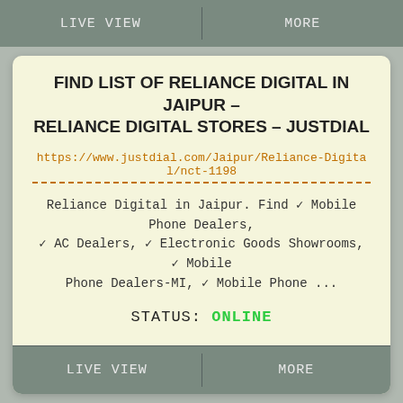LIVE VIEW   MORE
FIND LIST OF RELIANCE DIGITAL IN JAIPUR - RELIANCE DIGITAL STORES - JUSTDIAL
https://www.justdial.com/Jaipur/Reliance-Digital/nct-1198
Reliance Digital in Jaipur. Find ✓ Mobile Phone Dealers, ✓ AC Dealers, ✓ Electronic Goods Showrooms, ✓ Mobile Phone Dealers-MI, ✓ Mobile Phone ...
STATUS: ONLINE
LIVE VIEW   MORE
This website uses cookies to ensure you get the best experience on our website. If you continue browsing, we consider that you accept their use
OK